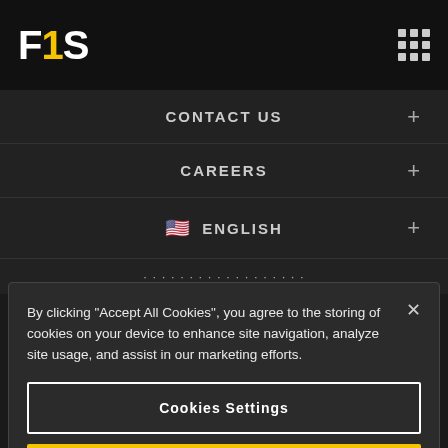[Figure (logo): F1S logo with F and S in white, 1 in yellow on black background]
CONTACT US +
CAREERS +
ENGLISH +
By clicking “Accept All Cookies”, you agree to the storing of cookies on your device to enhance site navigation, analyze site usage, and assist in our marketing efforts.
Cookies Settings
Reject All
Accept All Cookies